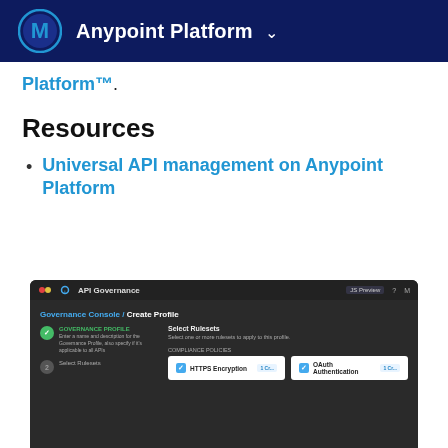Anypoint Platform
Platform™.
Resources
Universal API management on Anypoint Platform
[Figure (screenshot): Screenshot of Anypoint Platform API Governance interface showing 'Governance Console / Create Profile' page with steps panel on the left and 'Select Rulesets' section on the right, including HTTPS Encryption and OAuth Authentication cards.]